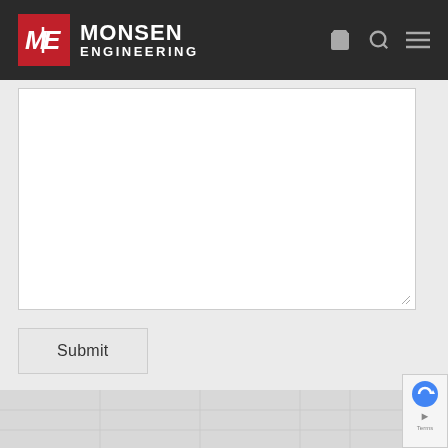[Figure (logo): Monsen Engineering logo with red square containing stylized ME mark and white bold text reading MONSEN ENGINEERING]
Monsen Engineering navigation bar with cart, search, and menu icons
[Figure (screenshot): Large white textarea input box for form submission]
Submit
[Figure (map): Partial map view at bottom of page with reCAPTCHA widget overlay showing Terms text]